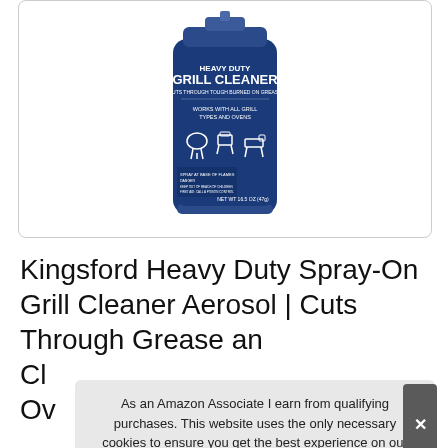[Figure (photo): Blue aerosol can of Kingsford Heavy Duty Grill Cleaner spray product on white background inside a rounded rectangle border]
Kingsford Heavy Duty Spray-On Grill Cleaner Aerosol | Cuts Through Grease an Cl Ov
As an Amazon Associate I earn from qualifying purchases. This website uses the only necessary cookies to ensure you get the best experience on our website. More information